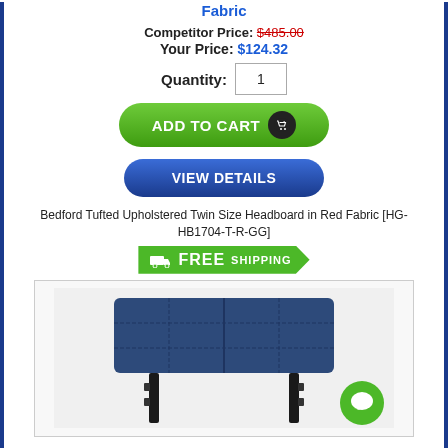Fabric
Competitor Price: $485.00  Your Price: $124.32
Quantity: 1
[Figure (other): Green Add to Cart button with shopping cart icon]
[Figure (other): Blue View Details button]
Bedford Tufted Upholstered Twin Size Headboard in Red Fabric [HG-HB1704-T-R-GG]
[Figure (other): Green Free Shipping badge with truck icon]
[Figure (photo): Product photo of a blue tufted upholstered twin size headboard with black metal legs, shown against white background. A green chat bubble icon is visible in bottom right corner.]